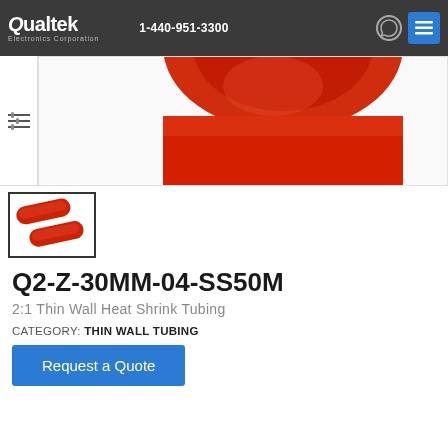Qualtek Electronics Corporation — 1-440-951-3300
[Figure (photo): Red heat shrink tubing product image — close-up of red cylindrical tubing end]
[Figure (photo): Thumbnail of two red heat shrink tubing pieces side by side]
Q2-Z-30MM-04-SS50M
2:1 Thin Wall Heat Shrink Tubing
CATEGORY: THIN WALL TUBING
Request a Quote